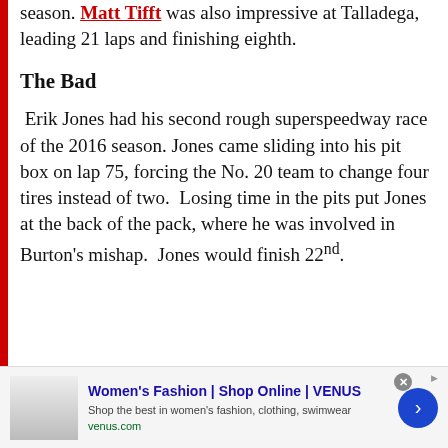season. Matt Tifft was also impressive at Talladega, leading 21 laps and finishing eighth.
The Bad
Erik Jones had his second rough superspeedway race of the 2016 season. Jones came sliding into his pit box on lap 75, forcing the No. 20 team to change four tires instead of two. Losing time in the pits put Jones at the back of the pack, where he was involved in Burton's mishap. Jones would finish 22nd.
[Figure (other): Advertisement banner for Women's Fashion | Shop Online | VENUS with image, text, and navigation arrow]